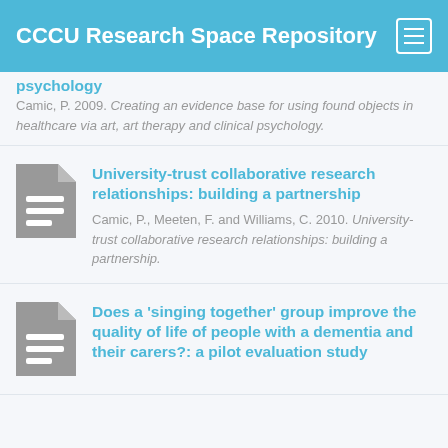CCCU Research Space Repository
psychology
Camic, P. 2009. Creating an evidence base for using found objects in healthcare via art, art therapy and clinical psychology.
[Figure (illustration): Grey document icon]
University-trust collaborative research relationships: building a partnership
Camic, P., Meeten, F. and Williams, C. 2010. University-trust collaborative research relationships: building a partnership.
[Figure (illustration): Grey document icon]
Does a 'singing together' group improve the quality of life of people with a dementia and their carers?: a pilot evaluation study